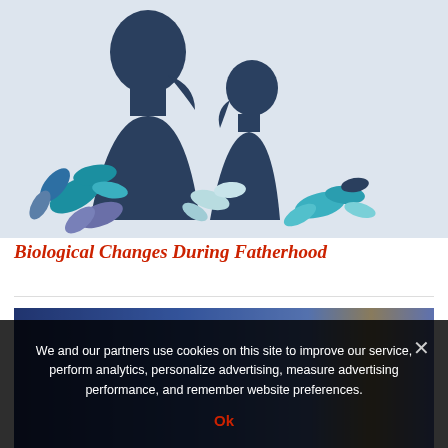[Figure (illustration): Paper art illustration of a father and child silhouette facing each other, surrounded by decorative blue and teal paper-cut leaf and plant shapes on a light background.]
Biological Changes During Fatherhood
[Figure (photo): Blurred photo showing a blue and black background, partially visible, likely a stock image for an article.]
We and our partners use cookies on this site to improve our service, perform analytics, personalize advertising, measure advertising performance, and remember website preferences.
Ok